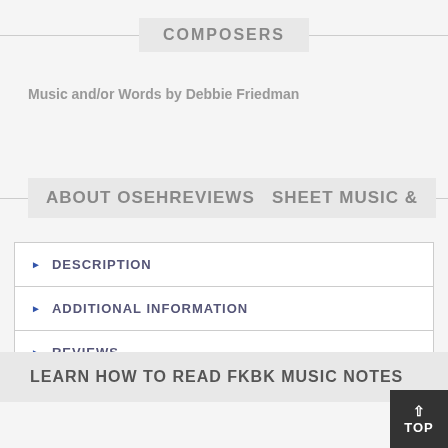COMPOSERS
Music and/or Words by Debbie Friedman
ABOUT OSEHREVIEWS SHEET MUSIC &
DESCRIPTION
ADDITIONAL INFORMATION
REVIEWS
LEARN HOW TO READ FKBK MUSIC NOTES